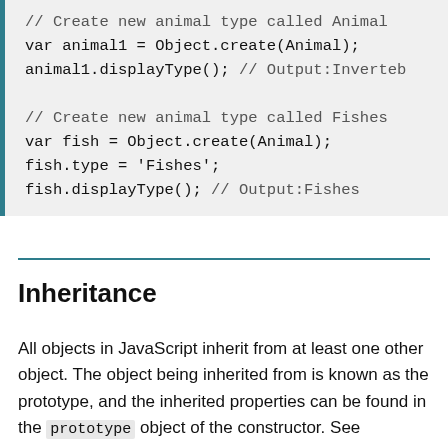// Create new animal type called Animal
var animal1 = Object.create(Animal);
animal1.displayType(); // Output:Inverteb

// Create new animal type called Fishes
var fish = Object.create(Animal);
fish.type = 'Fishes';
fish.displayType(); // Output:Fishes
Inheritance
All objects in JavaScript inherit from at least one other object. The object being inherited from is known as the prototype, and the inherited properties can be found in the prototype object of the constructor. See